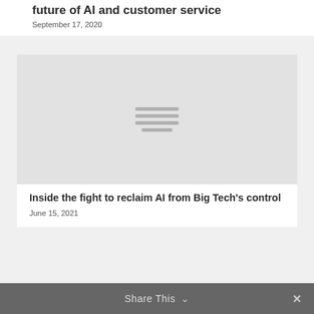future of AI and customer service
September 17, 2020
[Figure (illustration): Gray placeholder image with hamburger/lines icon in center]
Inside the fight to reclaim AI from Big Tech’s control
June 15, 2021
Share This ∨  ×